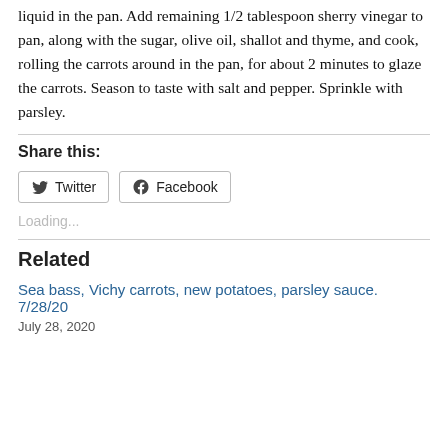liquid in the pan. Add remaining 1/2 tablespoon sherry vinegar to pan, along with the sugar, olive oil, shallot and thyme, and cook, rolling the carrots around in the pan, for about 2 minutes to glaze the carrots. Season to taste with salt and pepper. Sprinkle with parsley.
Share this:
Twitter Facebook
Loading...
Related
Sea bass, Vichy carrots, new potatoes, parsley sauce. 7/28/20
July 28, 2020